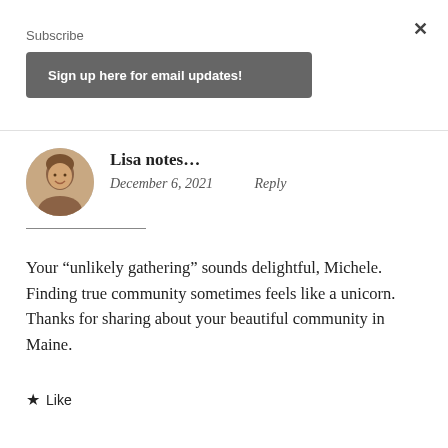×
Subscribe
Sign up here for email updates!
Lisa notes...
December 6, 2021    Reply
Your “unlikely gathering” sounds delightful, Michele. Finding true community sometimes feels like a unicorn. Thanks for sharing about your beautiful community in Maine.
★ Like